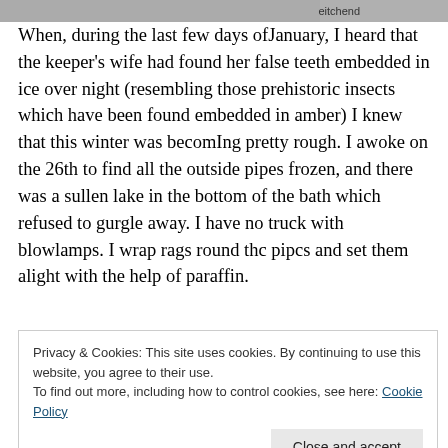[Figure (other): Faded header image strip with handwritten or decorative text, partially visible at the top of the page]
When, during the last few days ofJanuary, I heard that the keeper's wife had found her false teeth embedded in ice over night (resembling those prehistoric insects which have been found embedded in amber) I knew that this winter was becomIng pretty rough. I awoke on the 26th to find all the outside pipes frozen, and there was a sullen lake in the bottom of the bath which refused to gurgle away. I have no truck with blowlamps. I wrap rags round thc pipcs and set them alight with the help of paraffin.
Privacy & Cookies: This site uses cookies. By continuing to use this website, you agree to their use.
To find out more, including how to control cookies, see here: Cookie Policy
may have to call the fire brigade. This method is not